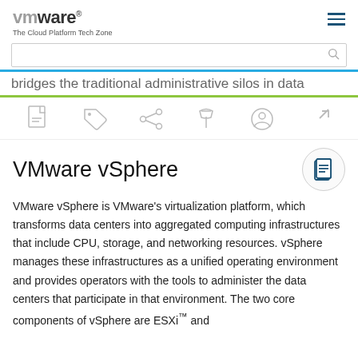vmware The Cloud Platform Tech Zone
bridges the traditional administrative silos in data
VMware vSphere
VMware vSphere is VMware's virtualization platform, which transforms data centers into aggregated computing infrastructures that include CPU, storage, and networking resources. vSphere manages these infrastructures as a unified operating environment and provides operators with the tools to administer the data centers that participate in that environment. The two core components of vSphere are ESXi™ and